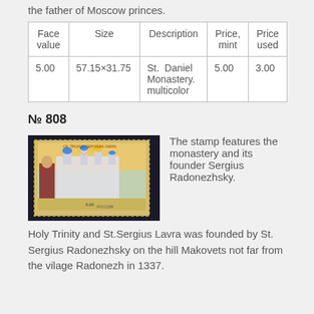the father of Moscow princes.
| Face value | Size | Description | Price, mint | Price used |
| --- | --- | --- | --- | --- |
| 5.00 | 57.15×31.75 | St. Daniel Monastery. multicolor | 5.00 | 3.00 |
№ 808
[Figure (photo): Russian postage stamp showing St. Trinity Sergius Lavra monastery with founder Sergius Radonezhsky, value 5.00, РОССИЯ]
The stamp features the monastery and its founder Sergius Radonezhsky.
Holy Trinity and St.Sergius Lavra was founded by St. Sergius Radonezhsky on the hill Makovets not far from the vilage Radonezh in 1337.